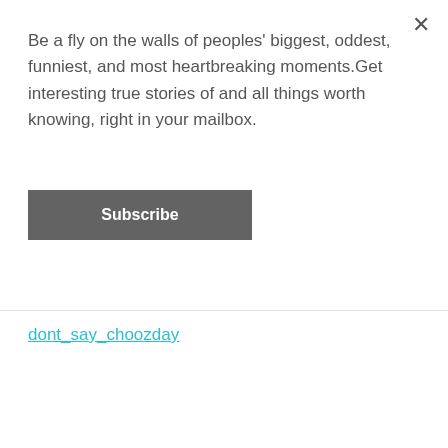Be a fly on the walls of peoples' biggest, oddest, funniest, and most heartbreaking moments.Get interesting true stories of and all things worth knowing, right in your mailbox.
Subscribe
dont_say_choozday